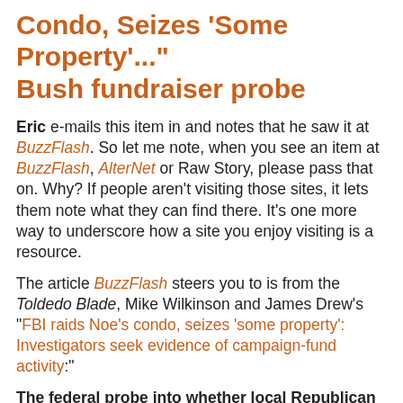Condo, Seizes 'Some Property'..." Bush fundraiser probe
Eric e-mails this item in and notes that he saw it at BuzzFlash. So let me note, when you see an item at BuzzFlash, AlterNet or Raw Story, please pass that on. Why? If people aren't visiting those sites, it lets them note what they can find there. It's one more way to underscore how a site you enjoy visiting is a resource.
The article BuzzFlash steers you to is from the Toldedo Blade, Mike Wilkinson and James Drew's "FBI raids Noe's condo, seizes 'some property': Investigators seek evidence of campaign-fund activity:"
The federal probe into whether local Republican fund-raiser Tom Noe was illegally funneling money to the Bush campaign had been ongoing for months. It reached a turning point Wednesday night. FBI agents swept into Mr. Noe's Maumee condo about 7:30 p.m., spending three hours scouring the home of